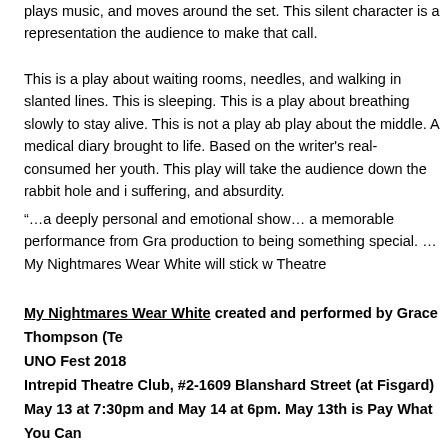plays music, and moves around the set. This silent character is a representation the audience to make that call.
This is a play about waiting rooms, needles, and walking in slanted lines. This is sleeping. This is a play about breathing slowly to stay alive. This is not a play ab play about the middle. A medical diary brought to life. Based on the writer's real- consumed her youth. This play will take the audience down the rabbit hole and i suffering, and absurdity.
“…a deeply personal and emotional show… a memorable performance from Gra production to being something special. …My Nightmares Wear White will stick w Theatre
My Nightmares Wear White created and performed by Grace Thompson (Te UNO Fest 2018
Intrepid Theatre Club, #2-1609 Blanshard Street (at Fisgard)
May 13 at 7:30pm and May 14 at 6pm. May 13th is Pay What You Can
Tickets $18 through Ticket Rocket
Duration: 55 minutes
Rating: 14+, Coarse language, Adult themes
Genre: Dark Comedy